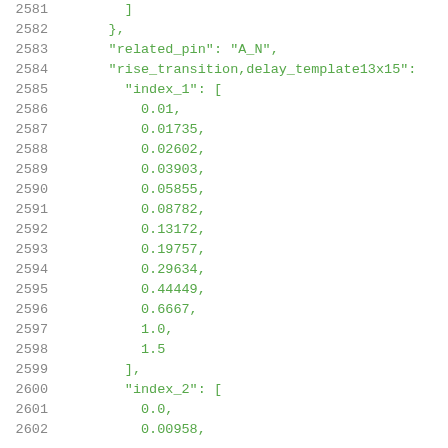2581    ]
2582    },
2583    "related_pin": "A_N",
2584    "rise_transition,delay_template13x15":
2585      "index_1": [
2586        0.01,
2587        0.01735,
2588        0.02602,
2589        0.03903,
2590        0.05855,
2591        0.08782,
2592        0.13172,
2593        0.19757,
2594        0.29634,
2595        0.44449,
2596        0.6667,
2597        1.0,
2598        1.5
2599      ],
2600      "index_2": [
2601        0.0,
2602        0.00958,